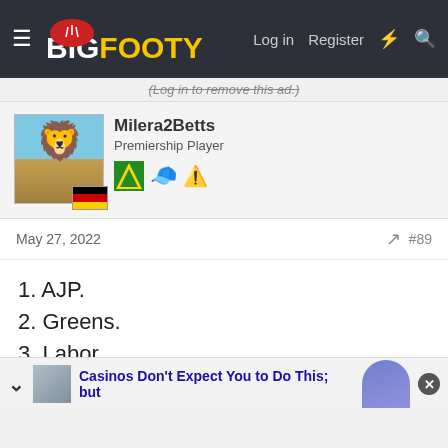BigFooty — Log in  Register
(Log in to remove this ad.)
Milera2Betts
Premiership Player
May 27, 2022  #89
1. AJP.
2. Greens.
3. Labor.
4. Independent.
5. Independent.
6. Lib Dems.
7. Australian Federation Party.
Casinos Don't Expect You to Do This; but